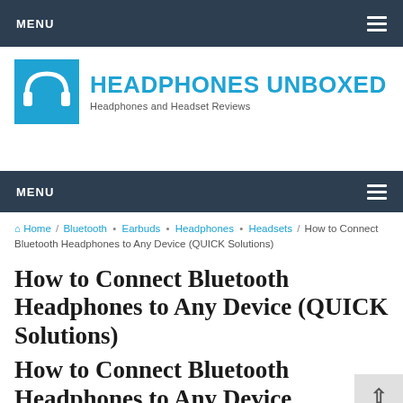MENU
[Figure (logo): Headphones Unboxed logo with headphones icon and text: HEADPHONES UNBOXED, Headphones and Headset Reviews]
MENU
Home / Bluetooth • Earbuds • Headphones • Headsets / How to Connect Bluetooth Headphones to Any Device (QUICK Solutions)
How to Connect Bluetooth Headphones to Any Device (QUICK Solutions)
How to Connect Bluetooth Headphones to Any Device